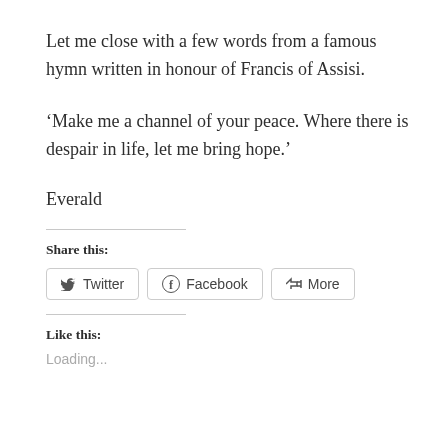Let me close with a few words from a famous hymn written in honour of Francis of Assisi.
‘Make me a channel of your peace. Where there is despair in life, let me bring hope.’
Everald
Share this:
Twitter  Facebook  More
Like this:
Loading...